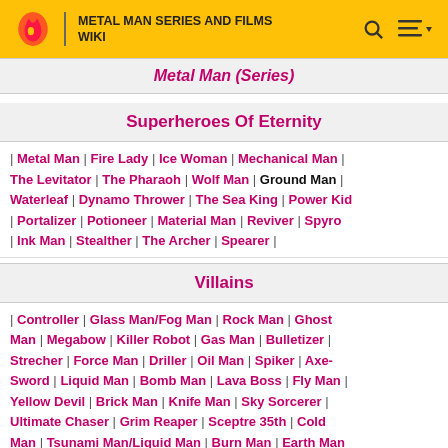METAL MAN SERIES AND FILMS WIKI
Metal Man (Series)
Superheroes Of Eternity
| Metal Man | Fire Lady | Ice Woman | Mechanical Man | The Levitator | The Pharaoh | Wolf Man | Ground Man | Waterleaf | Dynamo Thrower | The Sea King | Power Kid | Portalizer | Potioneer | Material Man | Reviver | Spyro | Ink Man | Stealther | The Archer | Spearer |
Villains
| Controller | Glass Man/Fog Man | Rock Man | Ghost Man | Megabow | Killer Robot | Gas Man | Bulletizer | Strecher | Force Man | Driller | Oil Man | Spiker | Axe-Sword | Liquid Man | Bomb Man | Lava Boss | Fly Man | Yellow Devil | Brick Man | Knife Man | Sky Sorcerer | Ultimate Chaser | Grim Reaper | Sceptre 35th | Cold Man | Tsunami Man/Liquid Man | Burn Man | Earth Man